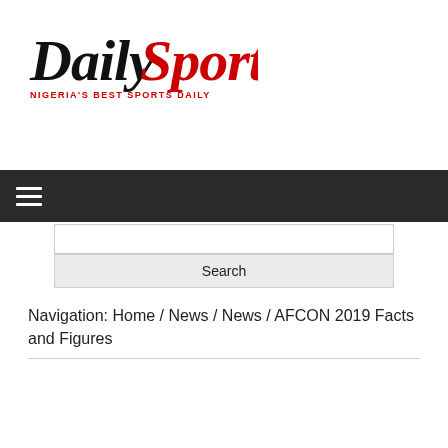[Figure (logo): Daily Sports logo — 'Daily' in black script, 'Sports' in red script, 'NIGERIA'S BEST SPORTS DAILY' tagline below in red small caps]
≡ (hamburger menu icon on dark navigation bar)
Search (search box and button)
Navigation: Home / News / News / AFCON 2019 Facts and Figures